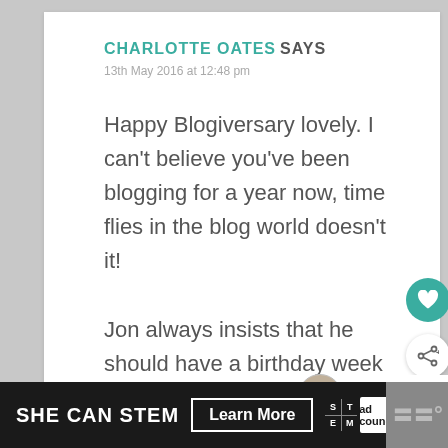CHARLOTTE OATES SAYS
13th May 2016 at 12:48 pm
Happy Blogiversary lovely. I can't believe you've been blogging for a year now, time flies in the blog world doesn't it!
Jon always insists that he should have a birthday week so I love the idea of doing it
SHE CAN STEM   Learn More